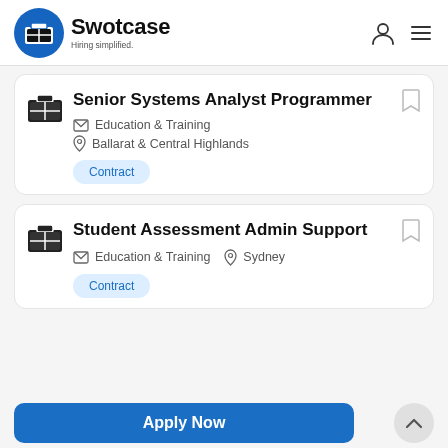Swotcase — Hiring simplified.
Senior Systems Analyst Programmer
Education & Training
Ballarat & Central Highlands
Contract
Student Assessment Admin Support
Education & Training
Sydney
Contract
Apply Now